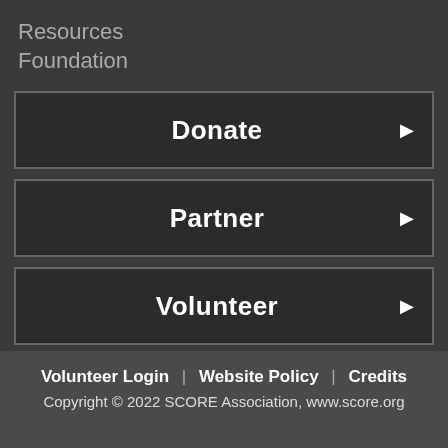Resources
Foundation
Donate ▶
Partner ▶
Volunteer ▶
Volunteer Login | Website Policy | Credits
Copyright © 2022 SCORE Association, www.score.org
Funded, in part, through a Cooperative Agreement with the U.S. Small Business Administration. All opinions, and/or recommendations expressed herein are those of the author(s) and do not necessarily